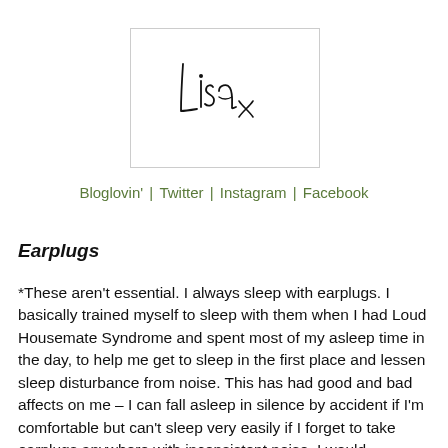[Figure (illustration): Handwritten signature reading 'Lisa x' in black ink on a white background with a light grey border]
Bloglovin' | Twitter | Instagram | Facebook
Earplugs
*These aren't essential. I always sleep with earplugs. I basically trained myself to sleep with them when I had Loud Housemate Syndrome and spent most of my asleep time in the day, to help me get to sleep in the first place and lessen sleep disturbance from noise. This has had good and bad affects on me – I can fall asleep in silence by accident if I'm comfortable but can't sleep very easily if I forget to take earplugs anywhere with inconsistent noise. I would recommend them, though. Lifesavers!